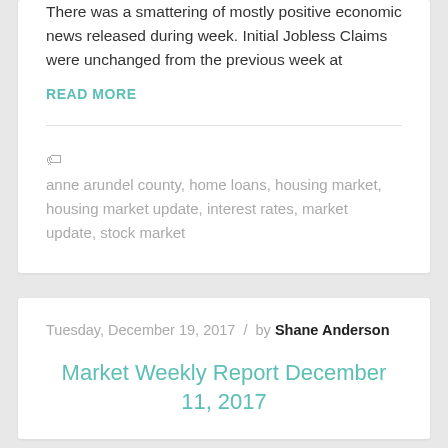There was a smattering of mostly positive economic news released during week. Initial Jobless Claims were unchanged from the previous week at
READ MORE
anne arundel county, home loans, housing market, housing market update, interest rates, market update, stock market
Tuesday, December 19, 2017 / by Shane Anderson
Market Weekly Report December 11, 2017